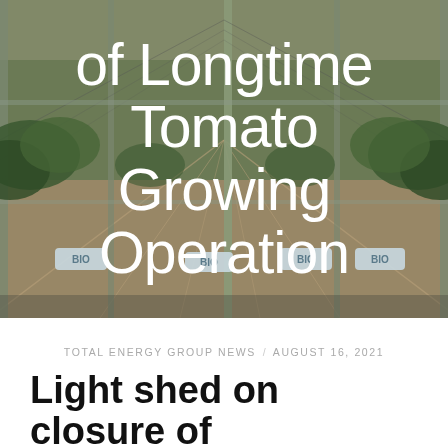[Figure (photo): Aerial/interior view of a large greenhouse tomato growing operation with rows of plants and BIO-labeled growing bags on the floor. Steel structural beams visible.]
of Longtime Tomato Growing Operation
TOTAL ENERGY GROUP NEWS   AUGUST 16, 2021
Light shed on closure of